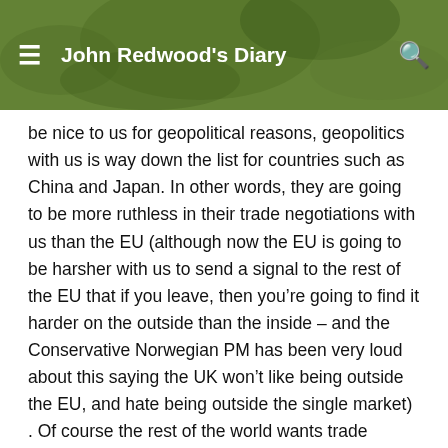John Redwood's Diary
be nice to us for geopolitical reasons, geopolitics with us is way down the list for countries such as China and Japan. In other words, they are going to be more ruthless in their trade negotiations with us than the EU (although now the EU is going to be harsher with us to send a signal to the rest of the EU that if you leave, then you’re going to find it harder on the outside than the inside – and the Conservative Norwegian PM has been very loud about this saying the UK won’t like being outside the EU, and hate being outside the single market) . Of course the rest of the world wants trade agreements with us, but only because they want access to our markets. Meanwhile they are going to try their hardest to prevent us from accessing theirs. Because bad trade agreements cost jobs (Donald Trump – and he’s quite right).
GEOPOLITICS seems to be totally absent from the vocabulary